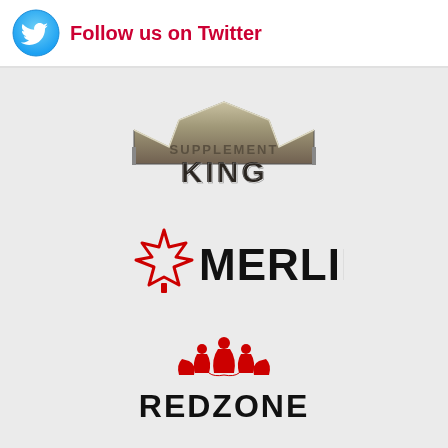[Figure (logo): Twitter bird icon (blue) followed by red bold text: Follow us on Twitter]
[Figure (logo): Supplement King logo - metallic crown shape above text SUPPLEMENT KING in dark metallic/grey letters]
[Figure (logo): Merlin logo - red maple leaf outline on left with bold black text MERLIN]
[Figure (logo): RedZone logo - red people/flame figures above bold black text REDZONE]